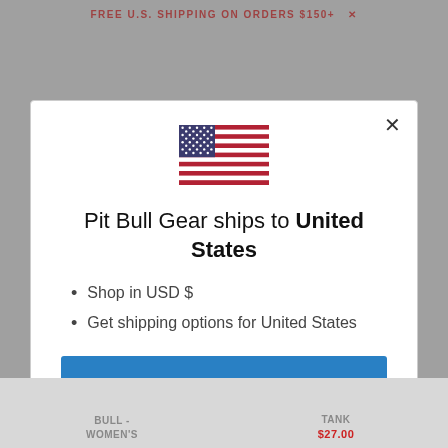FREE U.S. SHIPPING ON ORDERS $150+  ×
[Figure (illustration): US flag SVG illustration centered at top of modal dialog]
Pit Bull Gear ships to United States
Shop in USD $
Get shipping options for United States
SHOP NOW
CHANGE SHIPPING COUNTRY
BULL -
WOMEN'S
TANK
$27.00